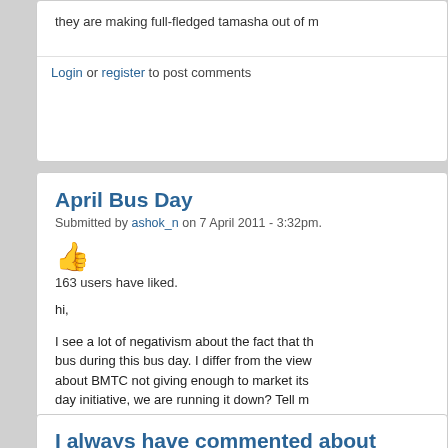they are making full-fledged tamasha out of m
Login or register to post comments
April Bus Day
Submitted by ashok_n on 7 April 2011 - 3:32pm.
163 users have liked.
hi,

I see a lot of negativism about the fact that th... bus during this bus day. I differ from the view... about BMTC not giving enough to market its... day initiative, we are running it down? Tell m... ones who read Praja or other such socially-aw... lesser of the educated class. There were a few... day happened or not (no previous day announ...

This action of the BMTC does not really help... onwards, when the awareness increases as a m
Login or register to post comments
I always have commented about